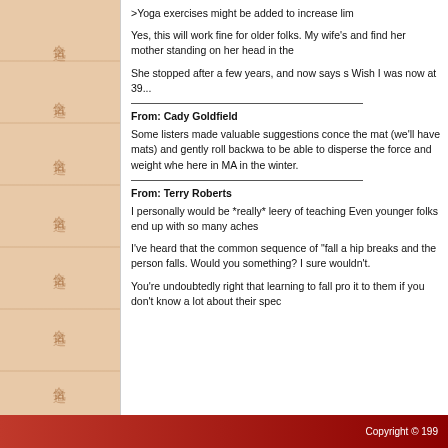[Figure (illustration): Left decorative panel with peach/tan textured background and repeated Chinese/Japanese kanji characters (合気道) arranged vertically in faded reddish-brown color]
>Yoga exercises might be added to increase lim
Yes, this will work fine for older folks. My wife's and find her mother standing on her head in the
She stopped after a few years, and now says s Wish I was now at 39...
From: Cady Goldfield
Some listers made valuable suggestions conce the mat (we'll have mats) and gently roll backwa to be able to disperse the force and weight whe here in MA in the winter.
From: Terry Roberts
I personally would be *really* leery of teaching Even younger folks end up with so many aches
I've heard that the common sequence of "fall a hip breaks and the person falls. Would you something? I sure wouldn't.
You're undoubtedly right that learning to fall pro it to them if you don't know a lot about their spec
Copyright © 199